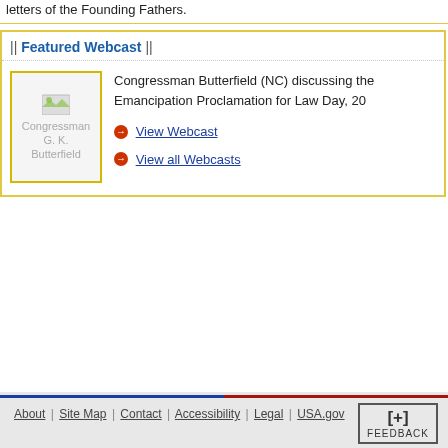letters of the Founding Fathers.
|| Featured Webcast ||
[Figure (photo): Photo placeholder of Congressman G. K. Butterfield]
Congressman Butterfield (NC) discussing the Emancipation Proclamation for Law Day, 20...
View Webcast
View all Webcasts
About | Site Map | Contact | Accessibility | Legal | USA.gov  [+] FEEDBACK